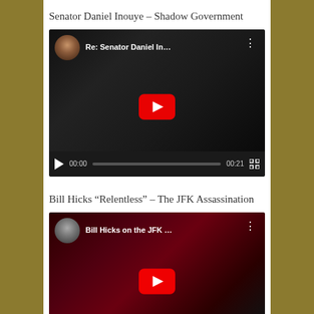Senator Daniel Inouye – Shadow Government
[Figure (screenshot): YouTube video embed showing 'Re: Senator Daniel In...' with play button, avatar thumbnail, progress bar showing 00:00 to 00:21]
Bill Hicks “Relentless” – The JFK Assassination
[Figure (screenshot): YouTube video embed showing 'Bill Hicks on the JFK ...' with play button and avatar thumbnail, red/dark background]